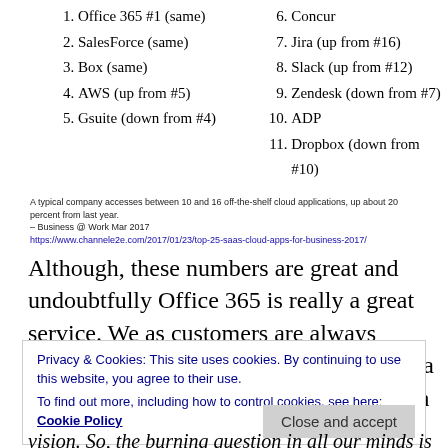1. Office 365 #1 (same)
2. SalesForce (same)
3. Box (same)
4. AWS (up from #5)
5. Gsuite (down from #4)
6. Concur
7. Jira (up from #16)
8. Slack (up from #12)
9. Zendesk (down from #7)
10. ADP
11. Dropbox (down from #10)
A typical company accesses between 10 and 16 off-the-shelf cloud applications, up about 20 percent from last year. – Business @ Work Mar 2017
https://www.channele2e.com/2017/01/23/top-25-saas-cloud-apps-for-business-2017/
Although, these numbers are great and undoubtfully Office 365 is really a great service. We as customers are always concerned about security because our data is not in our datacenters and instead it's in
Privacy & Cookies: This site uses cookies. By continuing to use this website, you agree to their use.
To find out more, including how to control cookies, see here: Cookie Policy
Close and accept
vision. So, the burning question in all our minds is ....